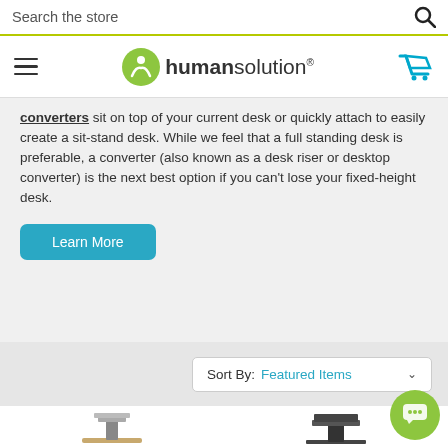Search the store
[Figure (logo): Human Solution logo with green circle icon and wordmark]
converters sit on top of your current desk or quickly attach to easily create a sit-stand desk. While we feel that a full standing desk is preferable, a converter (also known as a desk riser or desktop converter) is the next best option if you can't lose your fixed-height desk.
Learn More
Sort By: Featured Items
[Figure (photo): Desk converter product image on left]
[Figure (photo): Desk converter product image on right]